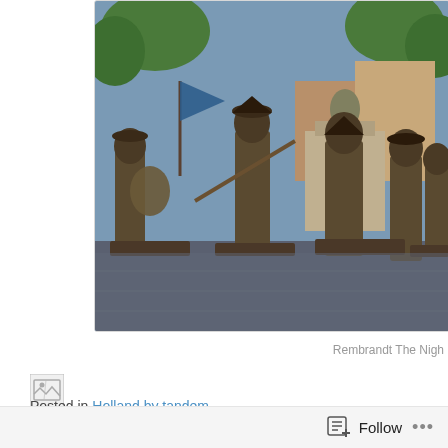[Figure (photo): Outdoor photograph of bronze statues depicting Rembrandt's Night Watch figures in a public square, with trees and a building visible in the background.]
Rembrandt The Nigh
[Figure (photo): Broken image placeholder icon]
Posted in Holland by tandem
Tags: Holland, tandem
Follow ...